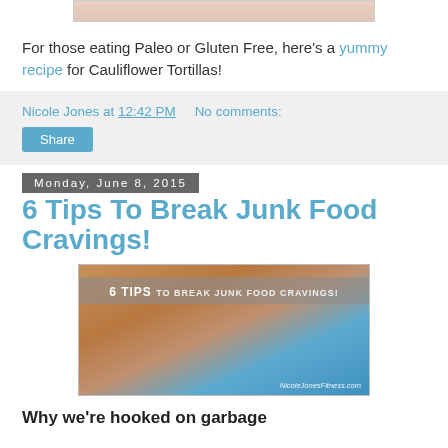[Figure (photo): Partial top image, cropped at top of page]
For those eating Paleo or Gluten Free, here's a yummy recipe for Cauliflower Tortillas!
Nicole Jones at 12:42 PM   No comments:
Share
Monday, June 8, 2015
6 Tips To Break Junk Food Cravings!
[Figure (photo): Blog post featured image showing '6 TIPS TO BREAK JUNK FOOD CRAVINGS!' text overlay with food and legs/pool background. Watermark: NicoleJonesFitness.com]
Why we're hooked on garbage